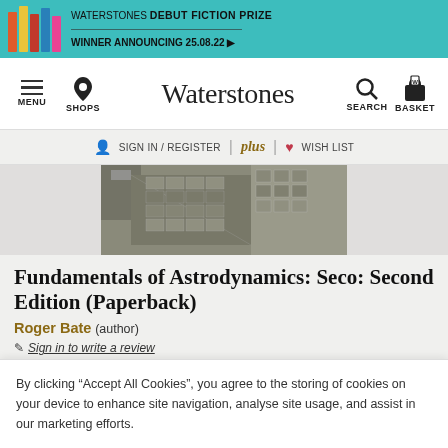[Figure (screenshot): Waterstones website banner with debut fiction prize]
Waterstones — MENU, SHOPS, SEARCH, BASKET, SIGN IN / REGISTER, plus, WISH LIST
[Figure (photo): Book cover image for Fundamentals of Astrodynamics, showing satellite solar panels]
Fundamentals of Astrodynamics: Seco: Second Edition (Paperback)
Roger Bate (author)
Sign in to write a review
| Format | Price |
| --- | --- |
| Paperback | £18.99 |
By clicking “Accept All Cookies”, you agree to the storing of cookies on your device to enhance site navigation, analyse site usage, and assist in our marketing efforts.